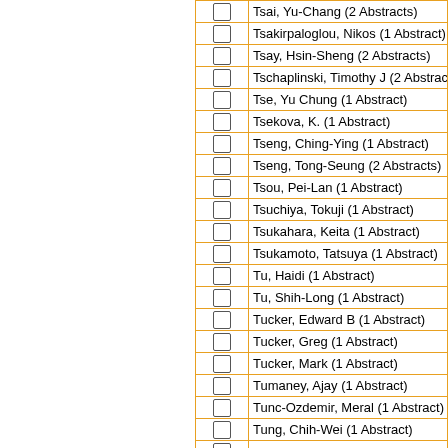|  | Name |
| --- | --- |
| ☐ | Tsai, Yu-Chang (2 Abstracts) |
| ☐ | Tsakirpaloglou, Nikos (1 Abstract) |
| ☐ | Tsay, Hsin-Sheng (2 Abstracts) |
| ☐ | Tschaplinski, Timothy J (2 Abstracts) |
| ☐ | Tse, Yu Chung (1 Abstract) |
| ☐ | Tsekova, K. (1 Abstract) |
| ☐ | Tseng, Ching-Ying (1 Abstract) |
| ☐ | Tseng, Tong-Seung (2 Abstracts) |
| ☐ | Tsou, Pei-Lan (1 Abstract) |
| ☐ | Tsuchiya, Tokuji (1 Abstract) |
| ☐ | Tsukahara, Keita (1 Abstract) |
| ☐ | Tsukamoto, Tatsuya (1 Abstract) |
| ☐ | Tu, Haidi (1 Abstract) |
| ☐ | Tu, Shih-Long (1 Abstract) |
| ☐ | Tucker, Edward B (1 Abstract) |
| ☐ | Tucker, Greg (1 Abstract) |
| ☐ | Tucker, Mark (1 Abstract) |
| ☐ | Tumaney, Ajay (1 Abstract) |
| ☐ | Tunc-Ozdemir, Meral (1 Abstract) |
| ☐ | Tung, Chih-Wei (1 Abstract) |
| ☐ |  |